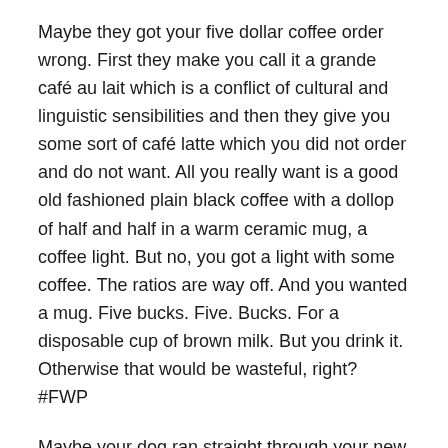Maybe they got your five dollar coffee order wrong. First they make you call it a grande café au lait which is a conflict of cultural and linguistic sensibilities and then they give you some sort of café latte which you did not order and do not want. All you really want is a good old fashioned plain black coffee with a dollop of half and half in a warm ceramic mug, a coffee light. But no, you got a light with some coffee. The ratios are way off. And you wanted a mug. Five bucks. Five. Bucks. For a disposable cup of brown milk. But you drink it. Otherwise that would be wasteful, right? #FWP
Maybe your dog ran straight through your new screen door in pursuit of the cat he could never catch even if he hadn't been slowed down—minutely—by that pesky mesh. (Okay, that's mine, too.) #FWP